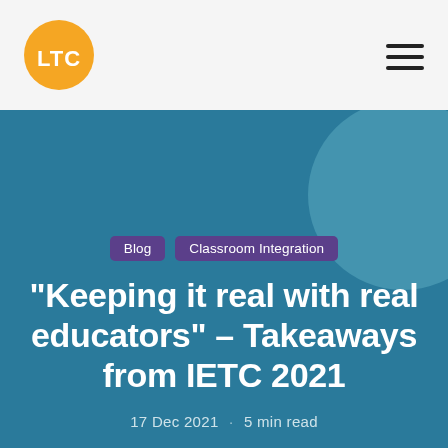LTC
Blog · Classroom Integration
“Keeping it real with real educators” – Takeaways from IETC 2021
17 Dec 2021 · 5 min read